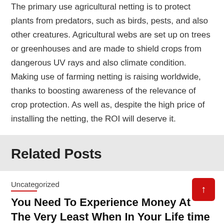The primary use agricultural netting is to protect plants from predators, such as birds, pests, and also other creatures. Agricultural webs are set up on trees or greenhouses and are made to shield crops from dangerous UV rays and also climate condition. Making use of farming netting is raising worldwide, thanks to boosting awareness of the relevance of crop protection. As well as, despite the high price of installing the netting, the ROI will deserve it.
Related Posts
Uncategorized
You Need To Experience Money At The Very Least When In Your Life time And